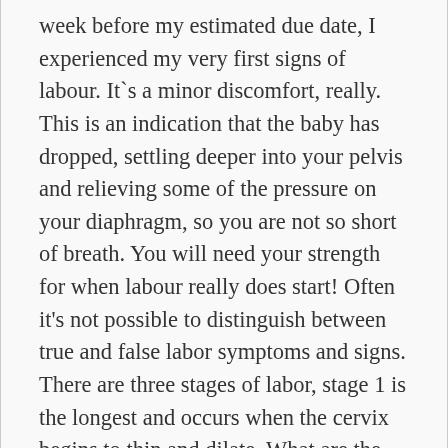week before my estimated due date, I experienced my very first signs of labour. It`s a minor discomfort, really. This is an indication that the baby has dropped, settling deeper into your pelvis and relieving some of the pressure on your diaphragm, so you are not so short of breath. You will need your strength for when labour really does start! Often it's not possible to distinguish between true and false labor symptoms and signs. There are three stages of labor, stage 1 is the longest and occurs when the cervix begins to thin and dilate. What are the signs labor is 24-48 hours away? Save your energy for the harder work of labor ... But that may not be the case. Here are seven signs of labour that could indicate you're about to meet your little one very soon. Information about how to prepare for the delivery of your baby is included. Short light contract: